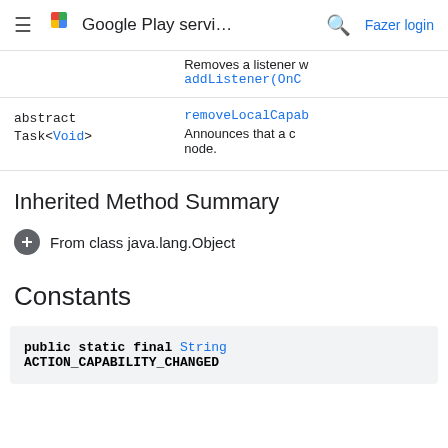Google Play servi... | Fazer login
| Type | Description |
| --- | --- |
|  | Removes a listener w
addListener(OnC |
| abstract Task<Void> | removeLocalCapab
Announces that a c node. |
Inherited Method Summary
+ From class java.lang.Object
Constants
public static final String ACTION_CAPABILITY_CHANGED